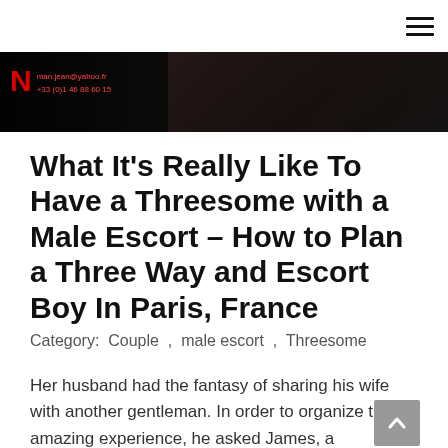≡
[Figure (photo): Dark banner image showing a woman in black, with a red N logo and contact details: man.jean@yahoo.fr and +33 (0)1 46 88 60 15]
What It's Really Like To Have a Threesome with a Male Escort – How to Plan a Three Way and Escort Boy In Paris, France
Category: Couple , male escort , Threesome
Her husband had the fantasy of sharing his wife with another gentleman. In order to organize this amazing experience, he asked James, a handsome french gentleman who offers his coaching services in Paris, to be their partner. They met for a cocktail at the rooftop